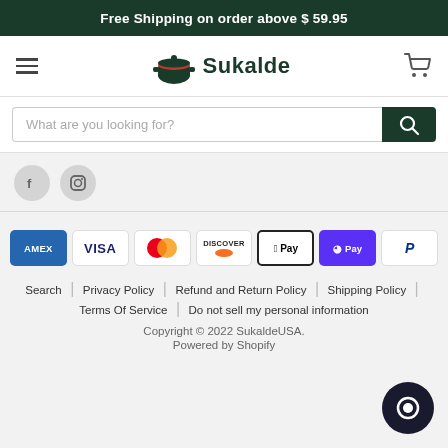Free Shipping on order above $ 59.95
[Figure (logo): Sukalde brand logo with green pot icon and text 'Sukalde']
What are you looking for?
[Figure (infographic): Social media icons: Facebook circle and Instagram circle]
[Figure (infographic): Payment method icons: AMEX, VISA, Mastercard, Discover, Apple Pay, Shop Pay, PayPal]
Search | Privacy Policy | Refund and Return Policy | Shipping Policy | Terms Of Service | Do not sell my personal information
Copyright © 2022 SukaldeUSA. Powered by Shopify